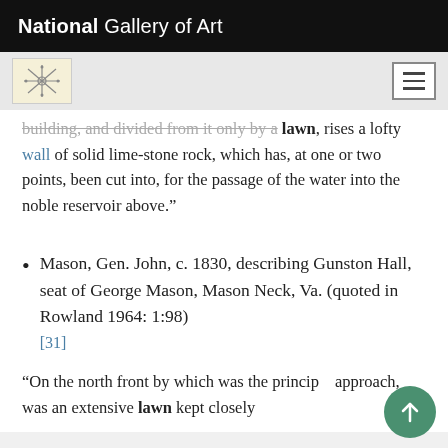National Gallery of Art
building, and divided from it only by a lawn, rises a lofty wall of solid lime-stone rock, which has, at one or two points, been cut into, for the passage of the water into the noble reservoir above.”
Mason, Gen. John, c. 1830, describing Gunston Hall, seat of George Mason, Mason Neck, Va. (quoted in Rowland 1964: 1:98) [31]
“On the north front by which was the principal approach, was an extensive lawn kept closely